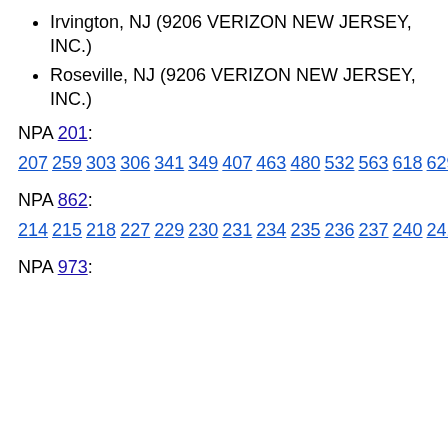Irvington, NJ (9206 VERIZON NEW JERSEY, INC.)
Roseville, NJ (9206 VERIZON NEW JERSEY, INC.)
NPA 201:
207 259 303 306 341 349 407 463 480 532 563 618 629 698 709 810 852 929
NPA 862:
214 215 218 227 229 230 231 234 235 236 237 240 241 255 256 270 279 280 294 298 300 301 302 307 313 315 316 317 320 323 327 331 338 339 343 350 353 361 367 368 371 372 373 380 381 390 401 448 452 501 576 588 622 658 682 754 755 763 772 799 800 810 822 849 867 872 895 900 902 944 955 959 976
NPA 973: